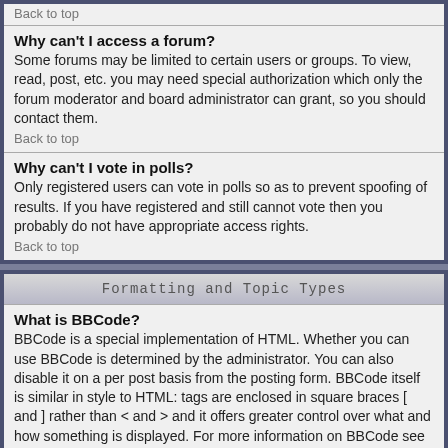Back to top
Why can't I access a forum?
Some forums may be limited to certain users or groups. To view, read, post, etc. you may need special authorization which only the forum moderator and board administrator can grant, so you should contact them.
Back to top
Why can't I vote in polls?
Only registered users can vote in polls so as to prevent spoofing of results. If you have registered and still cannot vote then you probably do not have appropriate access rights.
Back to top
Formatting and Topic Types
What is BBCode?
BBCode is a special implementation of HTML. Whether you can use BBCode is determined by the administrator. You can also disable it on a per post basis from the posting form. BBCode itself is similar in style to HTML: tags are enclosed in square braces [ and ] rather than < and > and it offers greater control over what and how something is displayed. For more information on BBCode see the guide which can be accessed from the posting page.
Back to top
Can I use HTML?
That depends on whether the administrator allows you to; they have complete